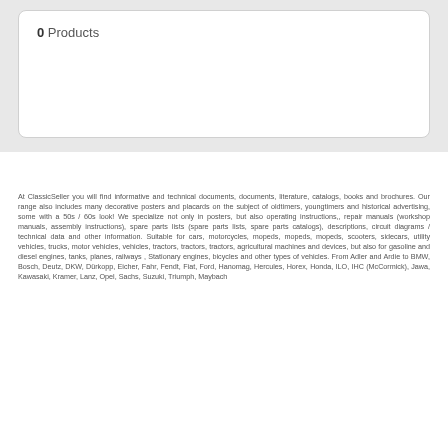0 Products
At ClassicSeller you will find informative and technical documents, documents, literature, catalogs, books and brochures. Our range also includes many decorative posters and placards on the subject of oldtimers, youngtimers and historical advertising, some with a 50s / 60s look! We specialize not only in posters, but also operating instructions,, repair manuals (workshop manuals, assembly instructions), spare parts lists (spare parts lists, spare parts catalogs), descriptions, circuit diagrams / technical data and other information. Suitable for cars, motorcycles, mopeds, mopeds, mopeds, scooters, sidecars, utility vehicles, trucks, motor vehicles, vehicles, tractors, tractors, tractors, agricultural machines and devices, but also for gasoline and diesel engines, tanks, planes, railways , Stationary engines, bicycles and other types of vehicles. From Adler and Ardie to BMW, Bosch, Deutz, DKW, Dürkopp, Eicher, Fahr, Fendt, Fiat, Ford, Hanomag, Hercules, Horex, Honda, ILO, IHC (McCormick), Jawa, Kawasaki, Kramer, Lanz, Opel, Sachs, Suzuki, Triumph, Maybach